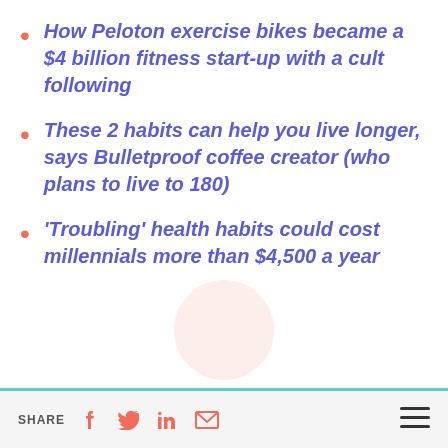How Peloton exercise bikes became a $4 billion fitness start-up with a cult following
These 2 habits can help you live longer, says Bulletproof coffee creator (who plans to live to 180)
'Troubling' health habits could cost millennials more than $4,500 a year
SHARE